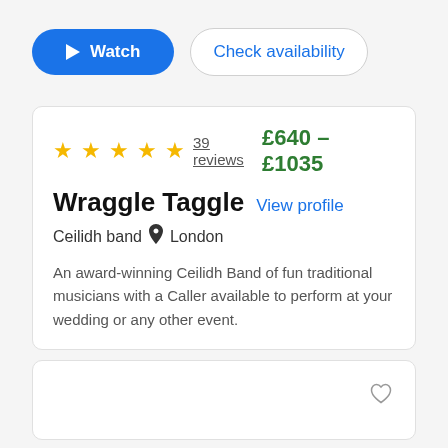[Figure (screenshot): Watch button (blue rounded) and Check availability button (white rounded outline)]
★★★★★ 39 reviews   £640 – £1035
Wraggle Taggle  View profile
Ceilidh band  📍 London
An award-winning Ceilidh Band of fun traditional musicians with a Caller available to perform at your wedding or any other event.
[Figure (other): Partial card at bottom with heart/wishlist icon]